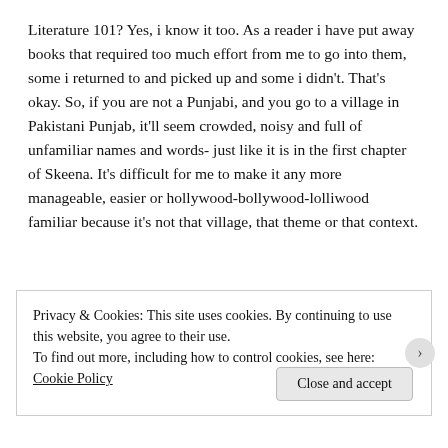Literature 101? Yes, i know it too. As a reader i have put away books that required too much effort from me to go into them, some i returned to and picked up and some i didn't. That's okay. So, if you are not a Punjabi, and you go to a village in Pakistani Punjab, it'll seem crowded, noisy and full of unfamiliar names and words- just like it is in the first chapter of Skeena. It's difficult for me to make it any more manageable, easier or hollywood-bollywood-lolliwood familiar because it's not that village, that theme or that context.
Privacy & Cookies: This site uses cookies. By continuing to use this website, you agree to their use.
To find out more, including how to control cookies, see here: Cookie Policy